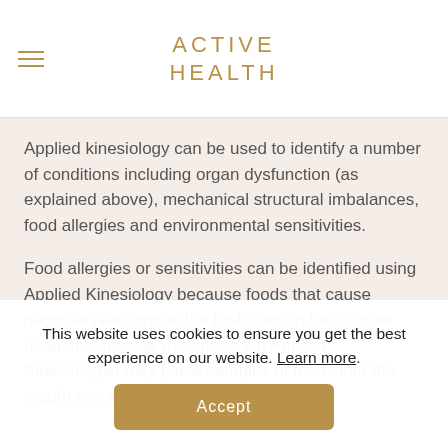ACTIVE HEALTH
Applied kinesiology can be used to identify a number of conditions including organ dysfunction (as explained above), mechanical structural imbalances, food allergies and environmental sensitivities.
Food allergies or sensitivities can be identified using Applied Kinesiology because foods that cause negative reactions in the body can, in turn, cause reversible muscle weakness. An Applied Kinesiologist may place samples of foods into the mouth one at a time while performing
This website uses cookies to ensure you get the best experience on our website. Learn more.
Accept